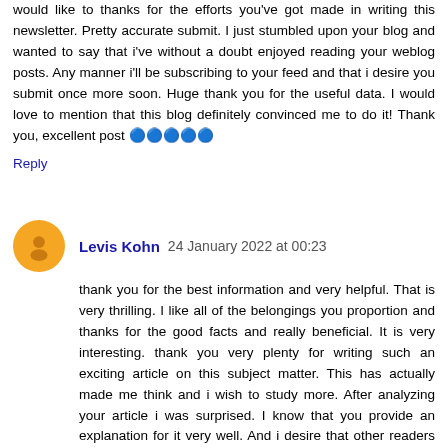would like to thanks for the efforts you've got made in writing this newsletter. Pretty accurate submit. I just stumbled upon your blog and wanted to say that i've without a doubt enjoyed reading your weblog posts. Any manner i'll be subscribing to your feed and that i desire you submit once more soon. Huge thank you for the useful data. I would love to mention that this blog definitely convinced me to do it! Thank you, excellent post 🔵🔵🔵🔵🔵
Reply
Levis Kohn  24 January 2022 at 00:23
thank you for the best information and very helpful. That is very thrilling. I like all of the belongings you proportion and thanks for the good facts and really beneficial. It is very interesting. thank you very plenty for writing such an exciting article on this subject matter. This has actually made me think and i wish to study more. After analyzing your article i was surprised. I know that you provide an explanation for it very well. And i desire that other readers can even revel in how i sense after studying your article . You obviously canot confront everyone approximately what